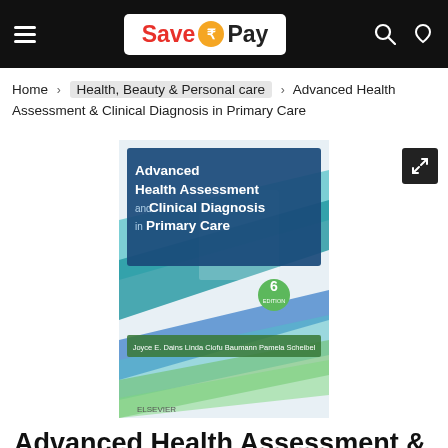Save ₹Pay — navigation bar
Home > Health, Beauty & Personal care > Advanced Health Assessment & Clinical Diagnosis in Primary Care
[Figure (illustration): Book cover of 'Advanced Health Assessment and Clinical Diagnosis in Primary Care, 6th Edition' by Joyce E. Dains, Linda Ciofu Baumann, Pamela Scheibel. Published by Elsevier. Cover features blue and teal color scheme with the book title prominently displayed.]
Advanced Health Assessment & Clinical Diagnosis in Primary Care